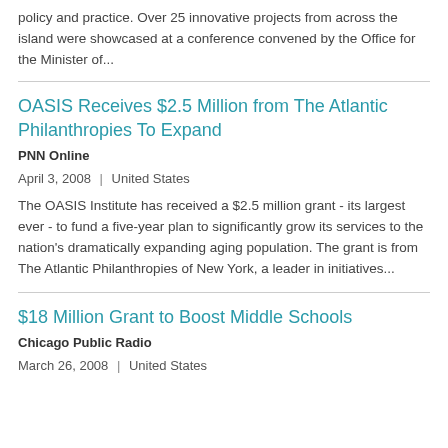policy and practice. Over 25 innovative projects from across the island were showcased at a conference convened by the Office for the Minister of...
OASIS Receives $2.5 Million from The Atlantic Philanthropies To Expand
PNN Online
April 3, 2008 | United States
The OASIS Institute has received a $2.5 million grant - its largest ever - to fund a five-year plan to significantly grow its services to the nation's dramatically expanding aging population. The grant is from The Atlantic Philanthropies of New York, a leader in initiatives...
$18 Million Grant to Boost Middle Schools
Chicago Public Radio
March 26, 2008 | United States